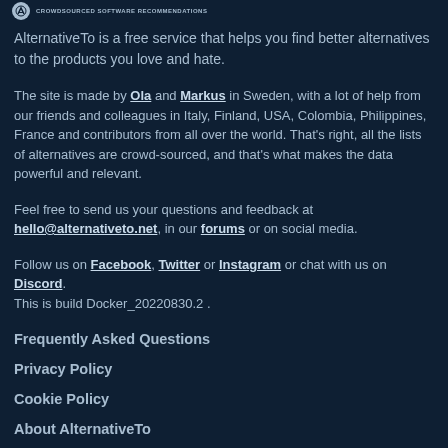CROWDSOURCED SOFTWARE RECOMMENDATIONS
AlternativeTo is a free service that helps you find better alternatives to the products you love and hate.
The site is made by Ola and Markus in Sweden, with a lot of help from our friends and colleagues in Italy, Finland, USA, Colombia, Philippines, France and contributors from all over the world. That's right, all the lists of alternatives are crowd-sourced, and that's what makes the data powerful and relevant.
Feel free to send us your questions and feedback at hello@alternativeto.net, in our forums or on social media.
Follow us on Facebook, Twitter or Instagram or chat with us on Discord. This is build Docker_20220830.2 .
Frequently Asked Questions
Privacy Policy
Cookie Policy
About AlternativeTo